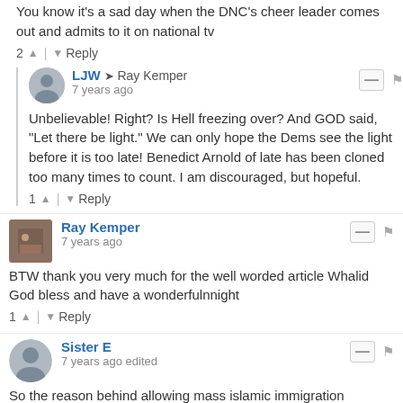You know it's a sad day when the DNC's cheer leader comes out and admits to it on national tv
2 ▲ | ▼ Reply
LJW → Ray Kemper · 7 years ago
Unbelievable! Right? Is Hell freezing over? And GOD said, "Let there be light." We can only hope the Dems see the light before it is too late! Benedict Arnold of late has been cloned too many times to count. I am discouraged, but hopeful.
1 ▲ | ▼ Reply
Ray Kemper · 7 years ago
BTW thank you very much for the well worded article Whalid God bless and have a wonderfulnnight
1 ▲ | ▼ Reply
Sister E · 7 years ago edited
So the reason behind allowing mass islamic immigration